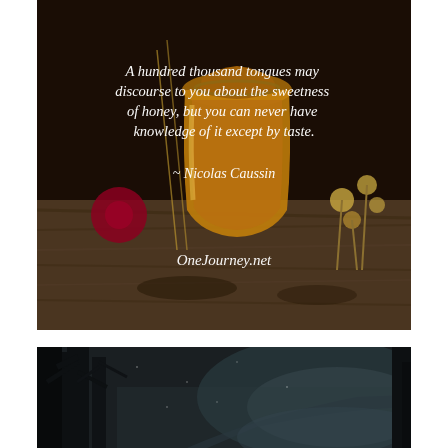[Figure (photo): A glass jar of amber honey surrounded by dried flowers and wheat on a wooden surface. Quote text overlaid in white italic font.]
A hundred thousand tongues may discourse to you about the sweetness of honey, but you can never have knowledge of it except by taste.
~ Nicolas Caussin
OneJourney.net
[Figure (photo): A dark, misty forest path with tall dark trees on the left and a foggy road receding into the distance on the right.]